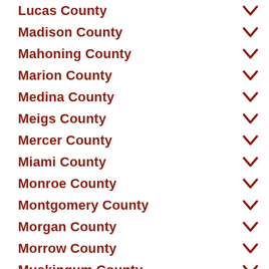Lucas County
Madison County
Mahoning County
Marion County
Medina County
Meigs County
Mercer County
Miami County
Monroe County
Montgomery County
Morgan County
Morrow County
Muskingum County